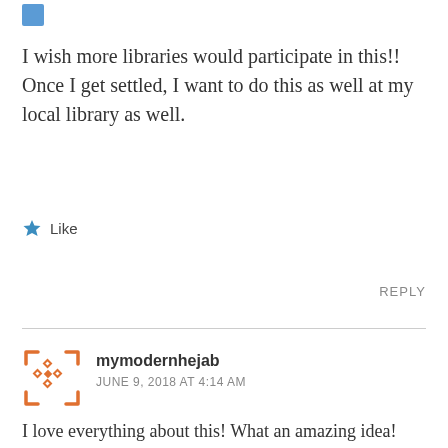[Figure (other): Small blue square avatar icon at top left]
I wish more libraries would participate in this!! Once I get settled, I want to do this as well at my local library as well.
★ Like
REPLY
[Figure (other): Orange geometric/mosaic avatar icon for user mymodernhejab]
mymodernhejab
JUNE 9, 2018 AT 4:14 AM
I love everything about this! What an amazing idea!
★ Like